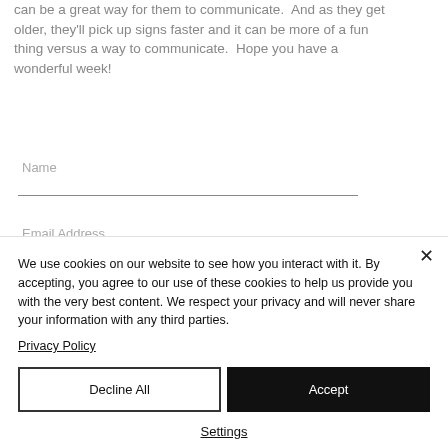can be a great way for them to communicate.  And as they get older, they'll pick up signs faster and it can be more of a fun thing versus a way to communicate.  Hope you have a wonderful week!
Name
Email Address
We use cookies on our website to see how you interact with it. By accepting, you agree to our use of these cookies to help us provide you with the very best content. We respect your privacy and will never share your information with any third parties.
Privacy Policy
Decline All
Accept
Settings